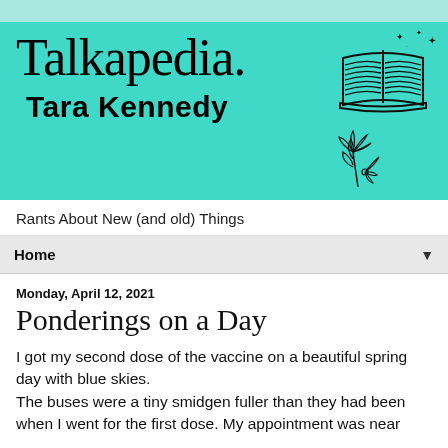[Figure (illustration): Teal banner with 'Talkapedia.' in serif font, 'Tara Kennedy' in bold sans-serif, an open book icon with sparkles top-right, and a flower illustration bottom-right]
Rants About New (and old) Things
Home ▼
Monday, April 12, 2021
Ponderings on a Day
I got my second dose of the vaccine on a beautiful spring day with blue skies.
The buses were a tiny smidgen fuller than they had been when I went for the first dose. My appointment was near